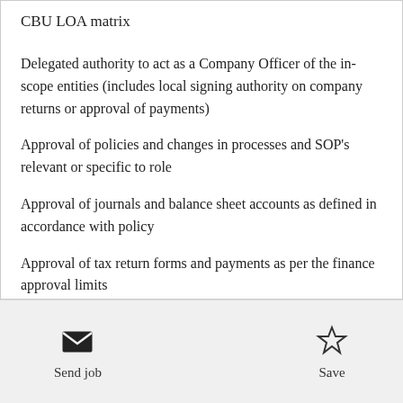CBU LOA matrix
Delegated authority to act as a Company Officer of the in-scope entities (includes local signing authority on company returns or approval of payments)
Approval of policies and changes in processes and SOP's relevant or specific to role
Approval of journals and balance sheet accounts as defined in accordance with policy
Approval of tax return forms and payments as per the finance approval limits
What we are looking for -
Send job   Save